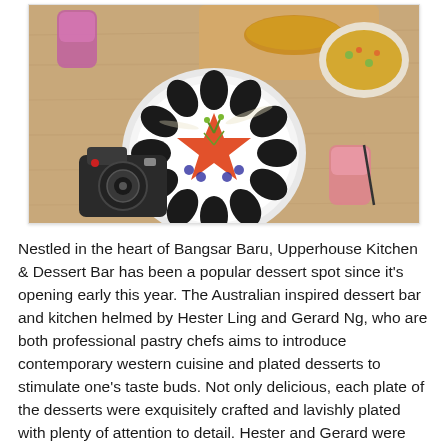[Figure (photo): Overhead/flat-lay food photography on a wooden table showing: a black-petaled flower-shaped dish with orange/red filling and microgreens garnish on a white plate, a camera, two drinks in glasses, soup in a bowl, bread, all on a light wood surface.]
Nestled in the heart of Bangsar Baru, Upperhouse Kitchen & Dessert Bar has been a popular dessert spot since it's opening early this year. The Australian inspired dessert bar and kitchen helmed by Hester Ling and Gerard Ng, who are both professional pastry chefs aims to introduce contemporary western cuisine and plated desserts to stimulate one's taste buds. Not only delicious, each plate of the desserts were exquisitely crafted and lavishly plated with plenty of attention to detail. Hester and Gerard were classmates at Le Cordon Bleu Sydney and have spent quite some time abroad(mainly Australia) thus this inspired them